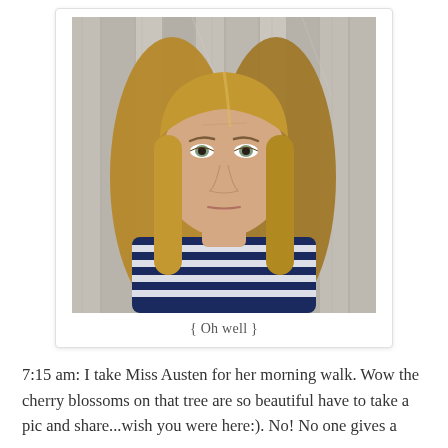[Figure (photo): Selfie of a young woman with medium-length blonde-brown hair wearing a navy and white striped top, standing in front of a wooden fence/wall background. She has a neutral/slightly sad expression.]
{ Oh well }
7:15 am: I take Miss Austen for her morning walk. Wow the cherry blossoms on that tree are so beautiful have to take a pic and share...wish you were here:). No! No one gives a